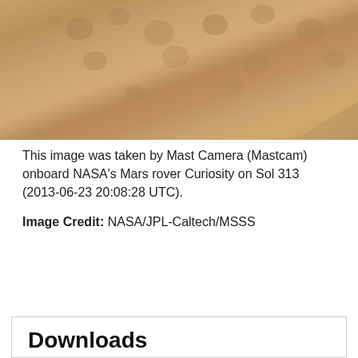[Figure (photo): Close-up photo of Mars surface showing sandy/dusty terrain with small pebbles and rocks, taken by NASA Curiosity rover Mastcam. The image shows warm tan/ochre colored Martian soil with a ridge or slope visible.]
This image was taken by Mast Camera (Mastcam) onboard NASA's Mars rover Curiosity on Sol 313 (2013-06-23 20:08:28 UTC).
Image Credit: NASA/JPL-Caltech/MSSS
ENLARGE
Downloads
Sol 313: Mast Camera (Mastcam)